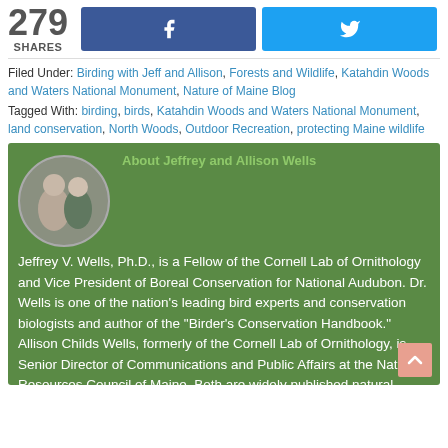279 SHARES
Filed Under: Birding with Jeff and Allison, Forests and Wildlife, Katahdin Woods and Waters National Monument, Nature of Maine Blog
Tagged With: birding, birds, Katahdin Woods and Waters National Monument, land conservation, North Woods, Outdoor Recreation, protecting Maine wildlife
About Jeffrey and Allison Wells
Jeffrey V. Wells, Ph.D., is a Fellow of the Cornell Lab of Ornithology and Vice President of Boreal Conservation for National Audubon. Dr. Wells is one of the nation's leading bird experts and conservation biologists and author of the "Birder's Conservation Handbook." Allison Childs Wells, formerly of the Cornell Lab of Ornithology, is Senior Director of Communications and Public Affairs at the Natural Resources Council of Maine. Both are widely published natural history writers and are the authors of the popular book "Maine...